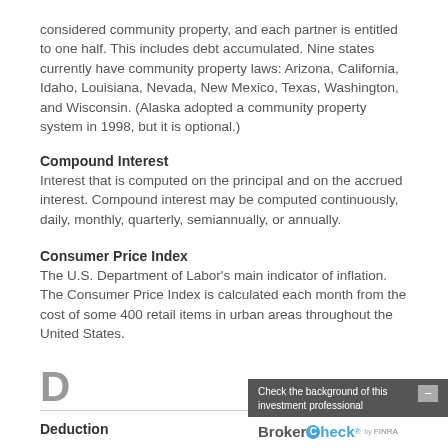considered community property, and each partner is entitled to one half. This includes debt accumulated. Nine states currently have community property laws: Arizona, California, Idaho, Louisiana, Nevada, New Mexico, Texas, Washington, and Wisconsin. (Alaska adopted a community property system in 1998, but it is optional.)
Compound Interest
Interest that is computed on the principal and on the accrued interest. Compound interest may be computed continuously, daily, monthly, quarterly, semiannually, or annually.
Consumer Price Index
The U.S. Department of Labor's main indicator of inflation. The Consumer Price Index is calculated each month from the cost of some 400 retail items in urban areas throughout the United States.
D
Deduction
An amount that can be subtracted from income, from a gross estate, or from a gift, thereby lowering the amount on which tax is assessed.